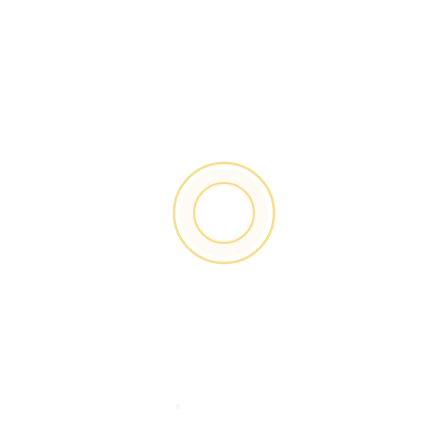[Figure (illustration): Two concentric circles rendered in a light golden/yellow color on a white background, centered slightly below the vertical midpoint of the page. The outer circle is larger with a thin stroke, and the inner circle is smaller, also with a thin stroke, creating a target or ring motif.]
Loading indicator or logo mark consisting of concentric rings in pale gold color